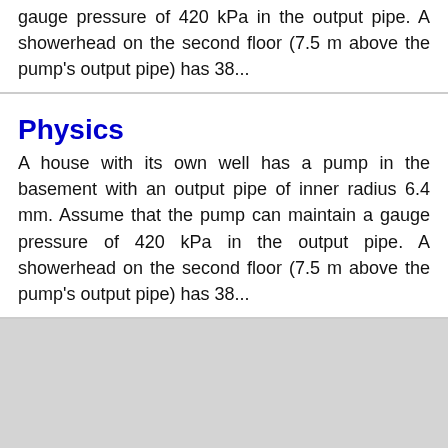gauge pressure of 420 kPa in the output pipe. A showerhead on the second floor (7.5 m above the pump's output pipe) has 38...
Physics
A house with its own well has a pump in the basement with an output pipe of inner radius 6.4 mm. Assume that the pump can maintain a gauge pressure of 420 kPa in the output pipe. A showerhead on the second floor (7.5 m above the pump's output pipe) has 38...